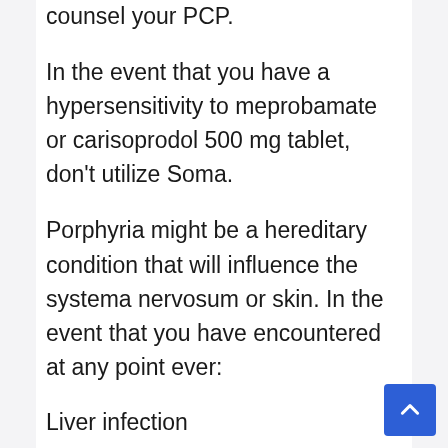counsel your PCP.
In the event that you have a hypersensitivity to meprobamate or carisoprodol 500 mg tablet, don't utilize Soma.
Porphyria might be a hereditary condition that will influence the systema nervosum or skin. In the event that you have encountered at any point ever:
Liver infection
Kidney infection renal confusion
A seizure.
Unborn infants may be experiencing this prescription. It's not realizing whether it'll. In